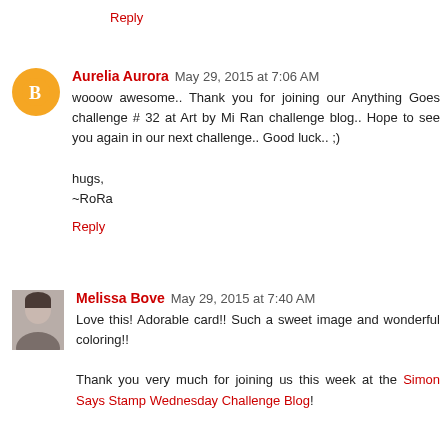Reply
Aurelia Aurora  May 29, 2015 at 7:06 AM
wooow awesome.. Thank you for joining our Anything Goes challenge # 32 at Art by Mi Ran challenge blog.. Hope to see you again in our next challenge.. Good luck.. ;)

hugs,
~RoRa
Reply
Melissa Bove  May 29, 2015 at 7:40 AM
Love this! Adorable card!! Such a sweet image and wonderful coloring!!

Thank you very much for joining us this week at the Simon Says Stamp Wednesday Challenge Blog!